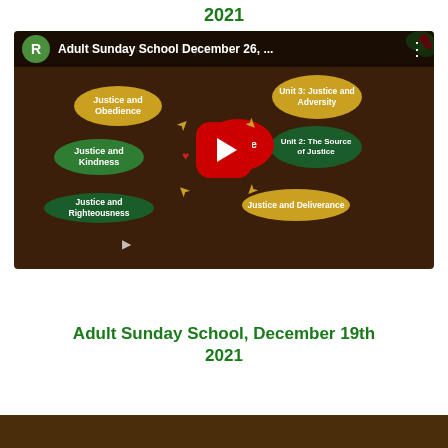2021
[Figure (screenshot): YouTube video thumbnail showing Adult Sunday School December 26, 2021 mind map with Justice at center and connected ovals: Justice and Obedience, Justice and Kindness, Justice and Righteousness, Unit 3: Justice and Adversity, Unit 2: The Source of Justice, Justice and Deliverance]
Adult Sunday School, December 19th 2021